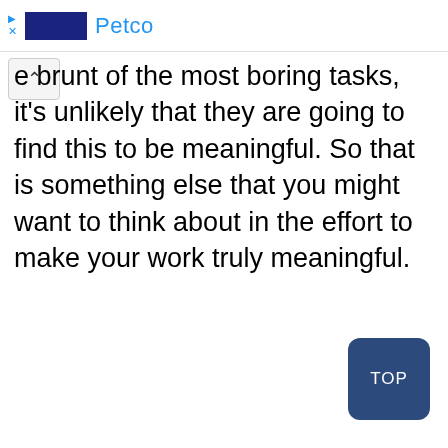Petco
e brunt of the most boring tasks, it's unlikely that they are going to find this to be meaningful. So that is something else that you might want to think about in the effort to make your work truly meaningful.